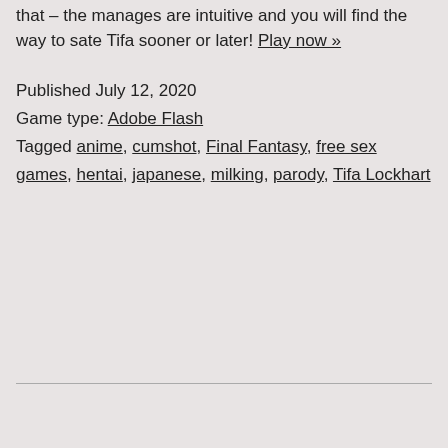that – the manages are intuitive and you will find the way to sate Tifa sooner or later! Play now »
Published July 12, 2020
Game type: Adobe Flash
Tagged anime, cumshot, Final Fantasy, free sex games, hentai, japanese, milking, parody, Tifa Lockhart